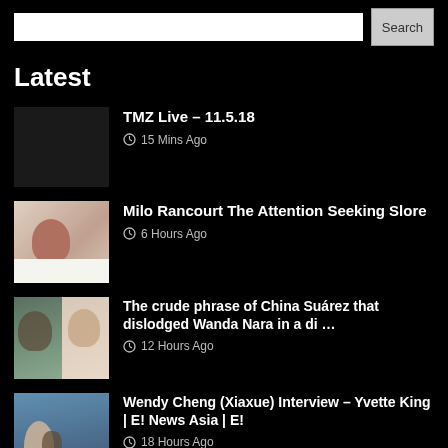Search
Latest
TMZ Live – 11.5.18 | 15 Mins Ago
Milo Rancourt The Attention Seeking Slore | 6 Hours Ago
The crude phrase of China Suárez that dislodged Wanda Nara in a di … | 12 Hours Ago
Wendy Cheng (Xiaxue) Interview – Yvette King | E! News Asia | E! | 18 Hours Ago